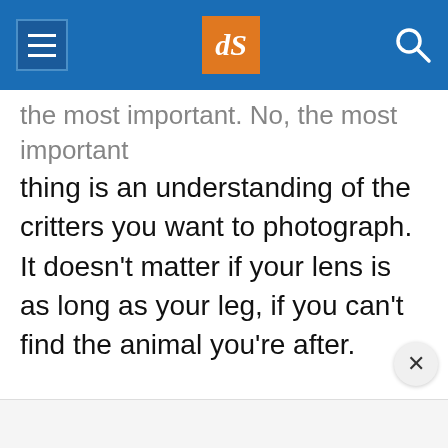dPS navigation header with hamburger menu, dPS logo, and search icon
the most important. No, the most important thing is an understanding of the critters you want to photograph. It doesn't matter if your lens is as long as your leg, if you can't find the animal you're after.